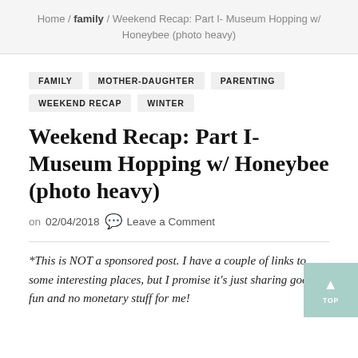Home / family / Weekend Recap: Part I- Museum Hopping w/ Honeybee (photo heavy)
FAMILY
MOTHER-DAUGHTER
PARENTING
WEEKEND RECAP
WINTER
Weekend Recap: Part I- Museum Hopping w/ Honeybee (photo heavy)
on 02/04/2018 💬 Leave a Comment
*This is NOT a sponsored post. I have a couple of links to some interesting places, but I promise it's just sharing good fun and no monetary stuff for me!